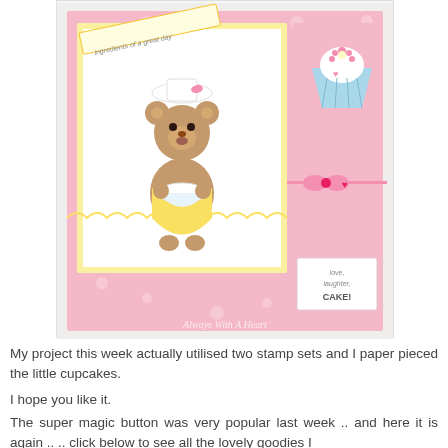[Figure (photo): A handmade greeting card featuring a cute teddy bear chef holding a mixing bowl, set against a pink polka dot background. The card includes a cupcake embellishment, pink ribbon bow, a banner saying 'ingredients of a great day', a small tag reading 'love, laughter, CAKE!', and a watermark 'Always With A Heart' at the bottom.]
My project this week actually utilised two stamp sets and I paper pieced the little cupcakes.
I hope you like it.
The super magic button was very popular last week .. and here it is again .. .. click below to see all the lovely goodies I